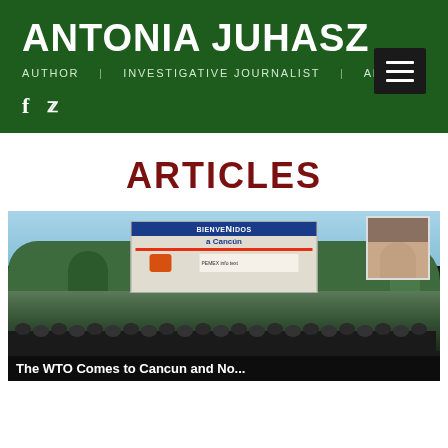ANTONIA JUHASZ
AUTHOR | INVESTIGATIVE JOURNALIST | ANALYST
ARTICLES
[Figure (photo): Protest scene in Cancun with crowd of riot police in front of a PEMEX billboard reading 'Bienvenidos a Cancun', with a portrait of a man in the upper right corner. Image appears to be from a political demonstration.]
The WTO Comes to Cancun and No...